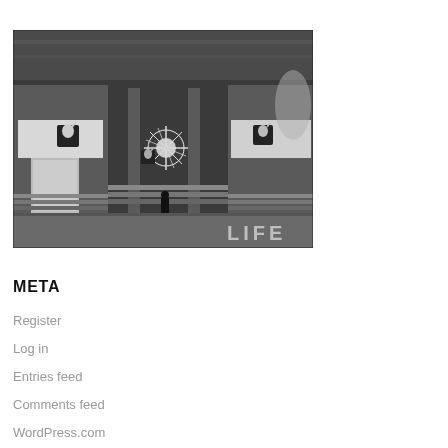[Figure (photo): Black and white photograph of a building exterior at night, showing an entrance with Playboy bunny logos/signs, stairs leading up to glass doors, and a 'LIFE' watermark in the lower right corner.]
META
Register
Log in
Entries feed
Comments feed
WordPress.com